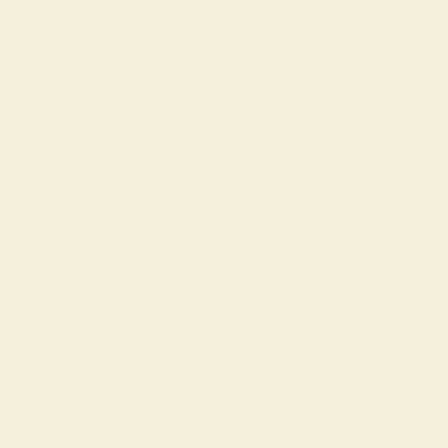generation scheduling is undertaken for a major power producer in the country. The goal of the study was to determine an optimal power production schedule that meets daily load demands at minimum cost of production and also ascertain the marginal cost of producing electricity per day and therefore tariff rate. The problem was formulated as Mixed Integer Linear Programming (MILP) and the resulting model tested using real data obtained from a major power producer in Ghana. The test results show that daily load demands could be met at a minimum cost. Furthermore, the marginal cost of producing power obtained from the dual of the MILP model provided insight into the appropriate Tariff that is reasonable for the power producer to charge consumers.